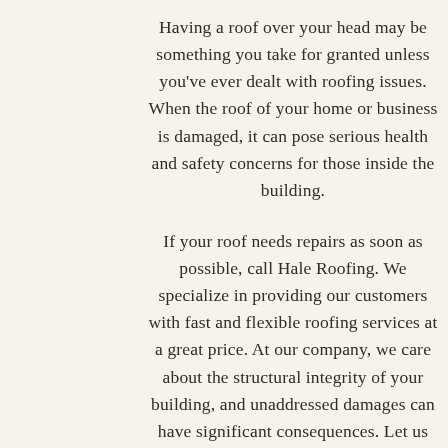Having a roof over your head may be something you take for granted unless you've ever dealt with roofing issues. When the roof of your home or business is damaged, it can pose serious health and safety concerns for those inside the building.
If your roof needs repairs as soon as possible, call Hale Roofing. We specialize in providing our customers with fast and flexible roofing services at a great price. At our company, we care about the structural integrity of your building, and unaddressed damages can have significant consequences. Let us provide you with quality roof repair to take care of